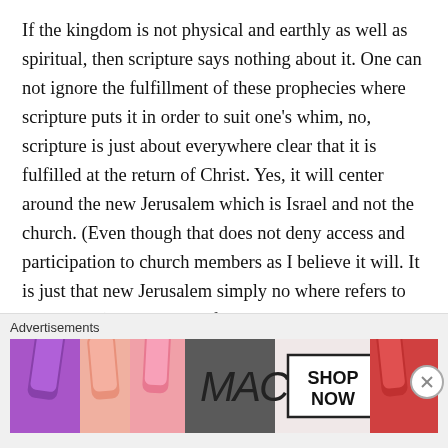If the kingdom is not physical and earthly as well as spiritual, then scripture says nothing about it. One can not ignore the fulfillment of these prophecies where scripture puts it in order to suit one's whim, no, scripture is just about everywhere clear that it is fulfilled at the return of Christ. Yes, it will center around the new Jerusalem which is Israel and not the church. (Even though that does not deny access and participation to church members as I believe it will. It is just that new Jerusalem simply no where refers to the church.) The beauty of the premill position is that scripture is allowed to
Advertisements
[Figure (photo): MAC cosmetics advertisement banner showing lipsticks in purple, pink, and red colors with MAC logo in italic script and a 'SHOP NOW' button in a black-bordered box on white background]